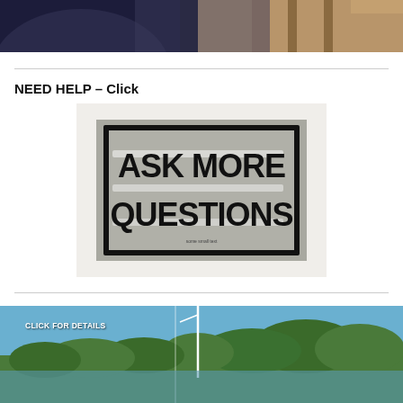[Figure (photo): Partial view of a person in dark clothing near wooden furniture, cropped at top of page]
NEED HELP – Click
[Figure (photo): A framed sign with bold black text reading 'ASK MORE QUESTIONS' on a grey/silver background with white rectangular shapes]
[Figure (photo): Outdoor scene with trees, blue sky and what appears to be a sailboat mast; text overlay reads 'CLICK FOR DETAILS']